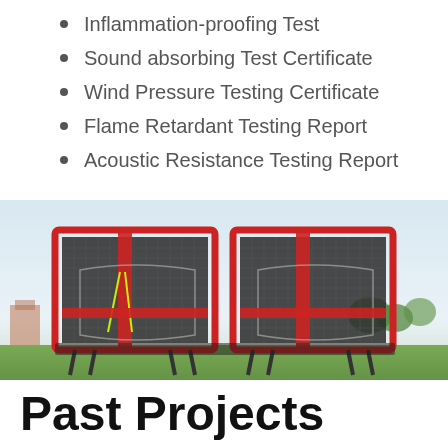Inflammation-proofing Test
Sound absorbing Test Certificate
Wind Pressure Testing Certificate
Flame Retardant Testing Report
Acoustic Resistance Testing Report
[Figure (photo): Two sports practice nets side by side outdoors on grass, with red frame borders and black netting, one showing yellow target markings inside]
Past Projects